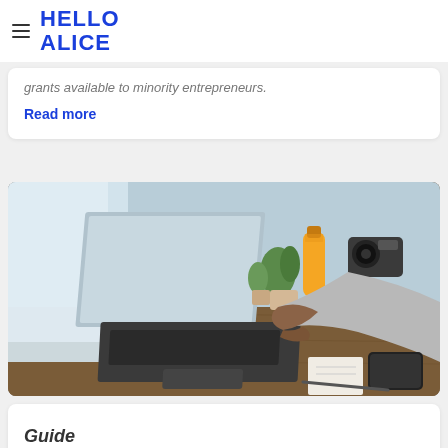HELLO ALICE
grants available to minority entrepreneurs.
Read more
[Figure (photo): Person working at a laptop on a wooden desk, with cacti, an orange juice bottle, and a camera visible in the background]
Guide